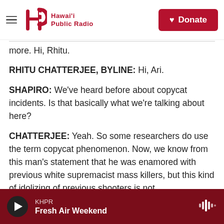Hawai'i Public Radio — Donate
more. Hi, Rhitu.
RHITU CHATTERJEE, BYLINE: Hi, Ari.
SHAPIRO: We've heard before about copycat incidents. Is that basically what we're talking about here?
CHATTERJEE: Yeah. So some researchers do use the term copycat phenomenon. Now, we know from this man's statement that he was enamored with previous white supremacist mass killers, but this kind of idolizing of previous shooters is not
KHPR — Fresh Air Weekend